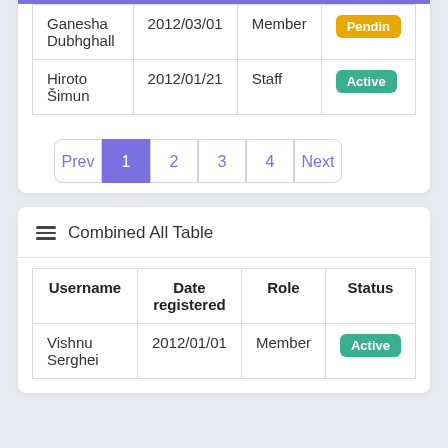| Ganesha Dubhghall | 2012/03/01 | Member | Pending |
| Hiroto Šimun | 2012/01/21 | Staff | Active |
Prev 1 2 3 4 Next
Combined All Table
| Username | Date registered | Role | Status |
| --- | --- | --- | --- |
| Vishnu Serghei | 2012/01/01 | Member | Active |